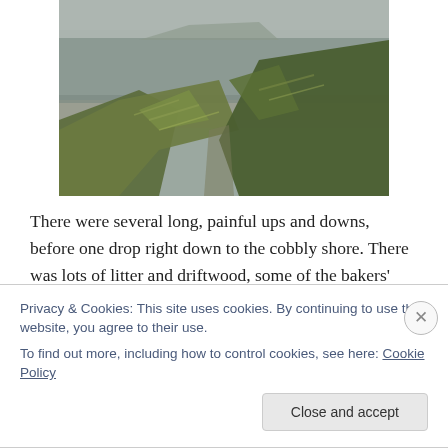[Figure (photo): Coastal landscape photograph showing a grassy cliff edge in the foreground with a pebbly shore and calm grey sea in the background. Vegetation is windswept and lying flat.]
There were several long, painful ups and downs, before one drop right down to the cobbly shore. There was lots of litter and driftwood, some of the bakers' tray sleds that the people of Clovelly use to drag things up and down. Not sure if they find trays that have come ashore or whether the trays get washed away. We reached Westward Ho!
Privacy & Cookies: This site uses cookies. By continuing to use this website, you agree to their use.
To find out more, including how to control cookies, see here: Cookie Policy
Close and accept